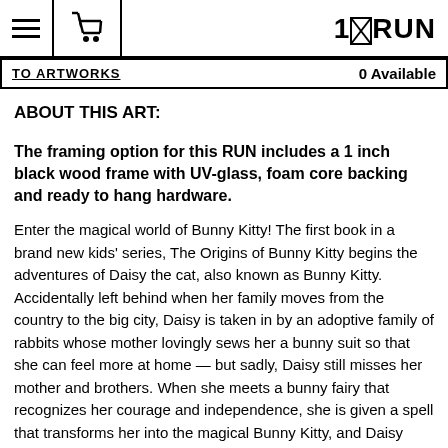1×RUN
TO ARTWORKS | 0 Available
ABOUT THIS ART:
The framing option for this RUN includes a 1 inch black wood frame with UV-glass, foam core backing and ready to hang hardware.
Enter the magical world of Bunny Kitty! The first book in a brand new kids' series, The Origins of Bunny Kitty begins the adventures of Daisy the cat, also known as Bunny Kitty. Accidentally left behind when her family moves from the country to the big city, Daisy is taken in by an adoptive family of rabbits whose mother lovingly sews her a bunny suit so that she can feel more at home — but sadly, Daisy still misses her mother and brothers. When she meets a bunny fairy that recognizes her courage and independence, she is given a spell that transforms her into the magical Bunny Kitty, and Daisy sets off in search of her lost family. Charmingly told with wonderfully vibrant illustrations, this is a sweet tale of how sometimes everyone